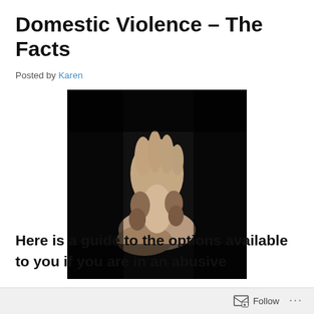Domestic Violence – The Facts
Posted by Karen
[Figure (photo): Dark photograph of one hand gripping another person's wrist, suggesting physical restraint, set against a black background.]
Here is a guide to the options available to you if you are in an abusive
Follow ...